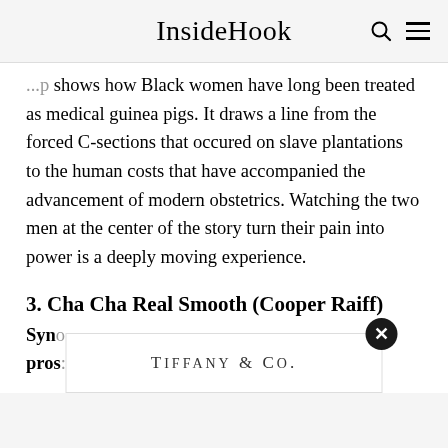InsideHook
shows how Black women have long been treated as medical guinea pigs. It draws a line from the forced C-sections that occured on slave plantations to the human costs that have accompanied the advancement of modern obstetrics. Watching the two men at the center of the story turn their pain into power is a deeply moving experience.
3. Cha Cha Real Smooth (Cooper Raiff)
Syno... job pros...
[Figure (advertisement): Tiffany & Co. advertisement overlay with close button]